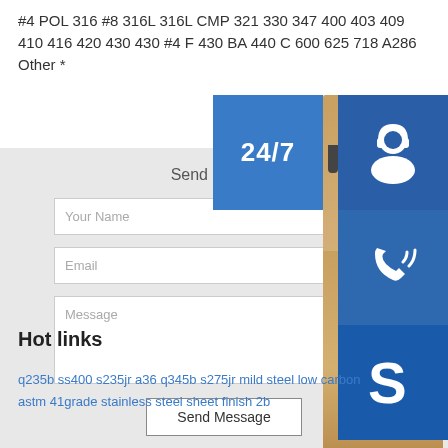#4 POL 316 #8 316L 316L CMP 321 330 347 400 403 409 410 416 420 430 430 #4 F 430 BA 440 C 600 625 718 A286 Other *
[Figure (infographic): Contact form with Send Message title, Your Name field, Email field, Message textarea, Send Message button, overlaid with customer service imagery showing a woman with headset, 24/7 text, headphone icon, phone icon, Skype icon, PROVIDE text, online live banner]
Hot links
q235b ss400 s235jr a36 q345b s275jr mild steel low carbon
astm 41grade stainless steel sheet finish 2b